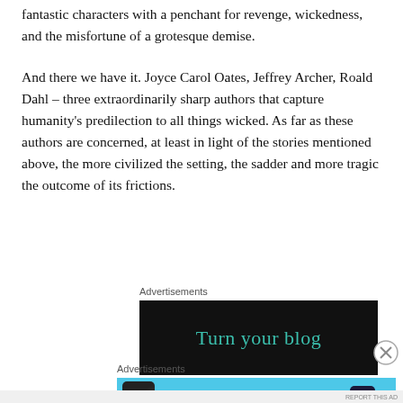fantastic characters with a penchant for revenge, wickedness, and the misfortune of a grotesque demise.
And there we have it. Joyce Carol Oates, Jeffrey Archer, Roald Dahl – three extraordinarily sharp authors that capture humanity's predilection to all things wicked. As far as these authors are concerned, at least in light of the stories mentioned above, the more civilized the setting, the sadder and more tragic the outcome of its frictions.
Advertisements
[Figure (other): Dark advertisement banner with teal text reading 'Turn your blog']
Advertisements
[Figure (other): Light blue advertisement banner for Day One app with text 'Your Journal for life' and a phone image]